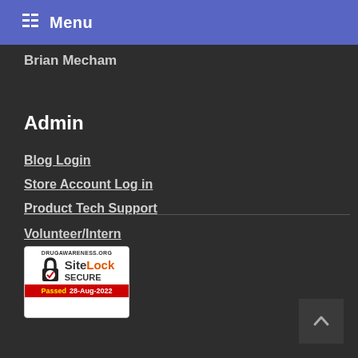Menu
Brian Mecham
Admin
Blog Login
Store Account Log in
Product Tech Support
Volunteer/Intern
[Figure (logo): SiteLock Secure badge for drugawareness.org — Passed 28-Aug-2022]